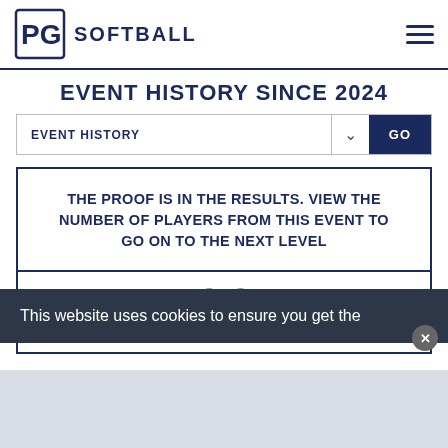PG SOFTBALL
EVENT HISTORY SINCE 2024
EVENT HISTORY  GO
THE PROOF IS IN THE RESULTS. VIEW THE NUMBER OF PLAYERS FROM THIS EVENT TO GO ON TO THE NEXT LEVEL
5001
This website uses cookies to ensure you get the